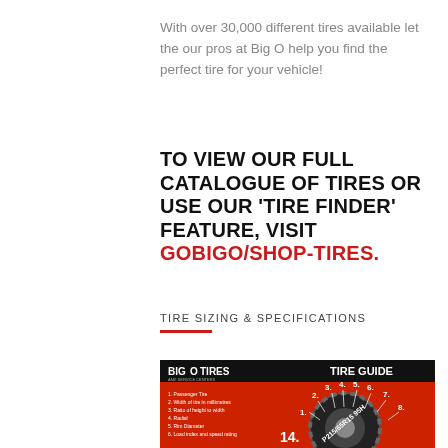With over 30,000 different tires available let the our pros at Big O help you find the perfect tire for your vehicle!
TO VIEW OUR FULL CATALOGUE OF TIRES OR USE OUR ‘TIRE FINDER’ FEATURE, VISIT GOBIGO/SHOP-TIRES.
TIRE SIZING & SPECIFICATIONS
[Figure (infographic): Big O Tires Tire Guide infographic showing a tire cross-section with numbered labels on a red background. Labels reference: 1. Passenger Tire, 2. Width of tire in millimetres, 3. Ratio of height to width, 4. Radial, 5. Rim Diameter, 6. Load index and speed rating, and numbers 1-8 pointing to tire parts. Example tire code P215/65R15 95H shown. Big O Tires and Service Centers logo in top left.]